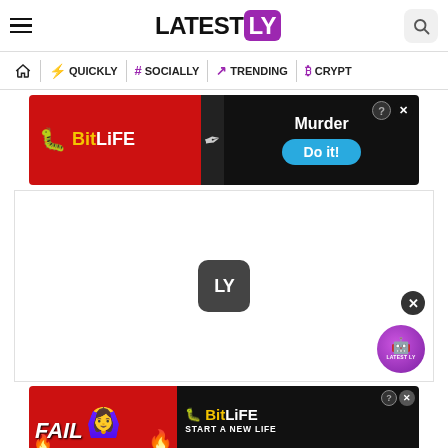LATESTLY
[Figure (screenshot): Navigation bar with home icon, QUICKLY, SOCIALLY, TRENDING, CRYPTO menu items]
[Figure (photo): BitLife advertisement banner: red left side with sperm icon and BitLife logo in yellow, black right side with Murder text and blue Do it! button]
[Figure (logo): Latestly LY logo placeholder in white content area with dark rounded square LY icon in center]
[Figure (photo): BitLife bottom advertisement: FAIL text with cartoon character and flames on red background, BitLife logo and START A NEW LIFE text on dark background]